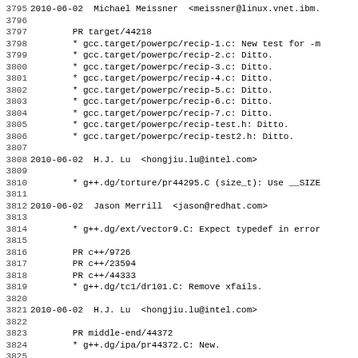3795 2010-06-02  Michael Meissner  <meissner@linux.vnet.ibm.
3796
3797         PR target/44218
3798         * gcc.target/powerpc/recip-1.c: New test for -m
3799         * gcc.target/powerpc/recip-2.c: Ditto.
3800         * gcc.target/powerpc/recip-3.c: Ditto.
3801         * gcc.target/powerpc/recip-4.c: Ditto.
3802         * gcc.target/powerpc/recip-5.c: Ditto.
3803         * gcc.target/powerpc/recip-6.c: Ditto.
3804         * gcc.target/powerpc/recip-7.c: Ditto.
3805         * gcc.target/powerpc/recip-test.h: Ditto.
3806         * gcc.target/powerpc/recip-test2.h: Ditto.
3807
3808 2010-06-02  H.J. Lu  <hongjiu.lu@intel.com>
3809
3810         * g++.dg/torture/pr44295.C (size_t): Use __SIZE
3811
3812 2010-06-02  Jason Merrill  <jason@redhat.com>
3813
3814         * g++.dg/ext/vector9.C: Expect typedef in error
3815
3816         PR c++/9726
3817         PR c++/23594
3818         PR c++/44333
3819         * g++.dg/tc1/dr101.C: Remove xfails.
3820
3821 2010-06-02  H.J. Lu  <hongjiu.lu@intel.com>
3822
3823         PR middle-end/44372
3824         * g++.dg/ipa/pr44372.C: New.
3825
3826 2010-06-02  Jan Hubicka  <jh@suse.cz>